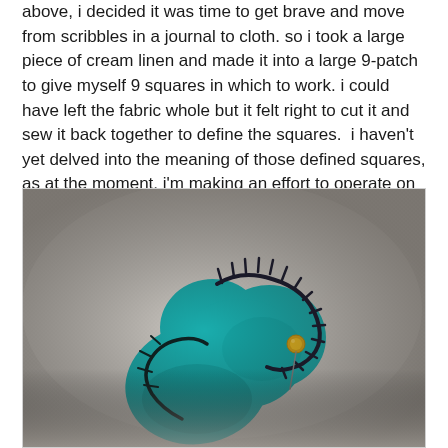above, i decided it was time to get brave and move from scribbles in a journal to cloth. so i took a large piece of cream linen and made it into a large 9-patch to give myself 9 squares in which to work. i could have left the fabric whole but it felt right to cut it and sew it back together to define the squares.  i haven't yet delved into the meaning of those defined squares, as at the moment, i'm making an effort to operate on instinct and not analyze too much.
[Figure (photo): Close-up photograph of a teal/turquoise felt heart shape with dark blanket-stitch edging, pinned to cream linen fabric with a gold-topped sewing pin.]